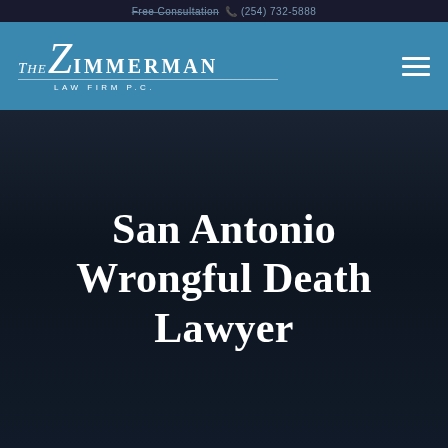Free Consultation (254) 732-5688
[Figure (logo): The Zimmerman Law Firm P.C. logo in white text on teal/blue navigation bar with hamburger menu icon]
San Antonio Wrongful Death Lawyer